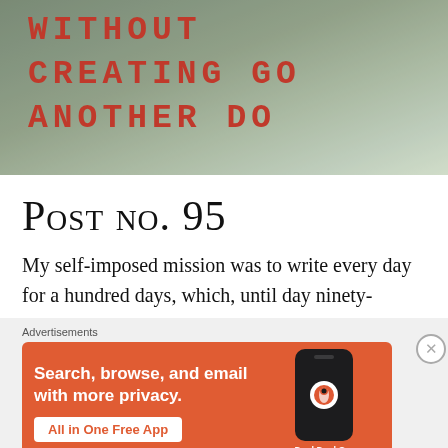[Figure (photo): Photo of handwritten text in red/orange block letters on a surface reading 'WITHOUT CREATING ANOTHER DO' (partial text visible)]
Post no. 95
My self-imposed mission was to write every day for a hundred days, which, until day ninety-
Advertisements
[Figure (screenshot): DuckDuckGo advertisement banner: 'Search, browse, and email with more privacy. All in One Free App' with DuckDuckGo logo and phone mockup]